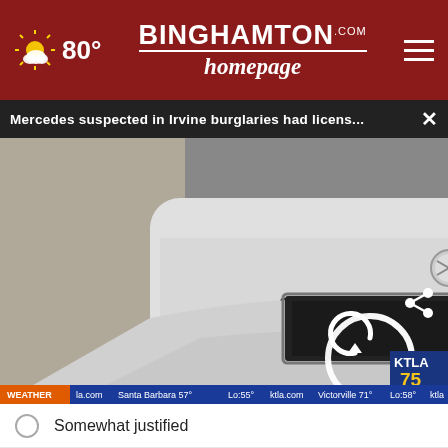BINGHAMTON homepage .com | 80°
Mercedes suspected in Irvine burglaries had licens... ×
[Figure (screenshot): Video screenshot of the rear of a white Mercedes-Benz with an empty license plate holder. A circular loading/replay icon overlays the center. Bottom ticker shows WEATHER, Santa Barbara 57°, Lo:55°, Victorville 71°, Lo:58°, 61°, 10:06. KTLA 75 YEARS logo in bottom right of video.]
Somewhat justified
Not justified at all
[Figure (infographic): Advertisement banner: GET DOWN WITH YOUR BLOOD PRESSURE | ACT NOW — In partnership with the Office of Minority Health and Health Resources & Services Administration. Logos: ad council, heart, AMA.]